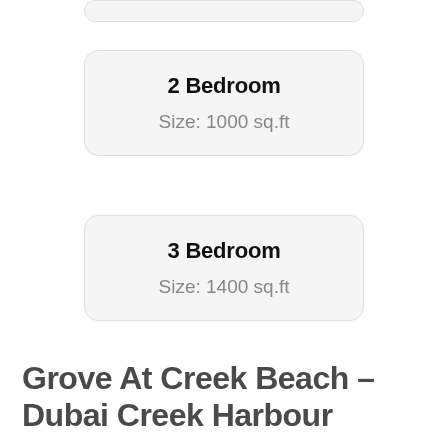[Figure (other): Partial card visible at top of page, clipped]
2 Bedroom
Size: 1000 sq.ft
3 Bedroom
Size: 1400 sq.ft
Grove At Creek Beach – Dubai Creek Harbour